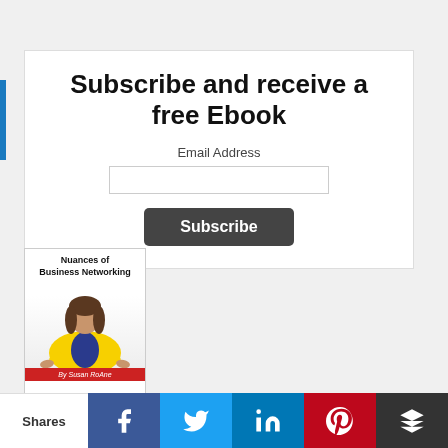Subscribe and receive a free Ebook
Email Address
[Figure (illustration): Book cover: Nuances of Business Networking by Susan RoAne, with a woman in a yellow jacket on the cover]
Shares | Facebook | Twitter | LinkedIn | Pinterest | Crown